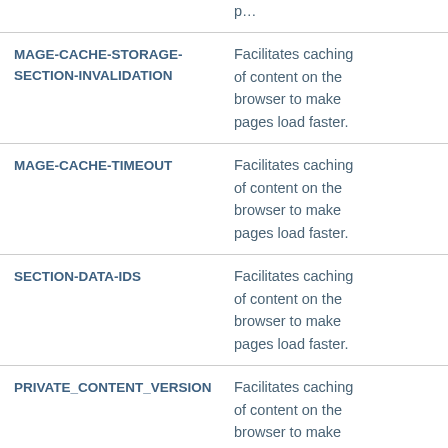| Cookie Name | Description |
| --- | --- |
| MAGE-CACHE-STORAGE-SECTION-INVALIDATION | Facilitates caching of content on the browser to make pages load faster. |
| MAGE-CACHE-TIMEOUT | Facilitates caching of content on the browser to make pages load faster. |
| SECTION-DATA-IDS | Facilitates caching of content on the browser to make pages load faster. |
| PRIVATE_CONTENT_VERSION | Facilitates caching of content on the browser to make pages load faster. |